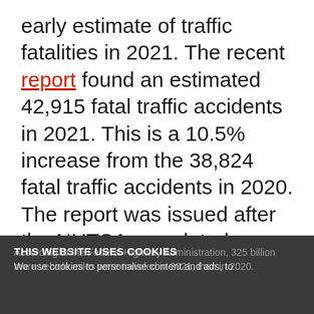early estimate of traffic fatalities in 2021. The recent report found an estimated 42,915 fatal traffic accidents in 2021. This is a 10.5% increase from the 38,824 fatal traffic accidents in 2020. The report was issued after the NHTSA completed a special analysis to show the statistical projection of traffic fatalities, which examines the major factors that cause traffic fatalities.
THIS WEBSITE USES COOKIES
We use personalise content and ads, to